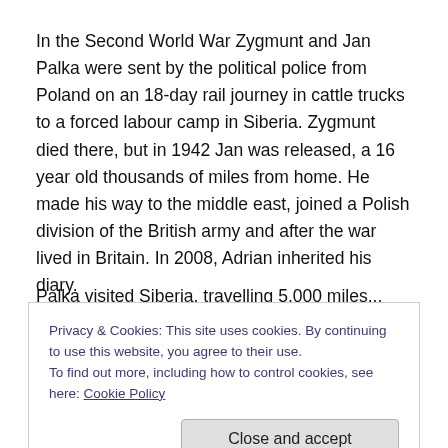In the Second World War Zygmunt and Jan Palka were sent by the political police from Poland on an 18-day rail journey in cattle trucks to a forced labour camp in Siberia. Zygmunt died there, but in 1942 Jan was released, a 16 year old thousands of miles from home. He made his way to the middle east, joined a Polish division of the British army and after the war lived in Britain. In 2008, Adrian inherited his diary.
This year, along with researchers Wolfram Spyra and
Privacy & Cookies: This site uses cookies. By continuing to use this website, you agree to their use.
To find out more, including how to control cookies, see here: Cookie Policy
which he said was “unapologetically personal”, but there